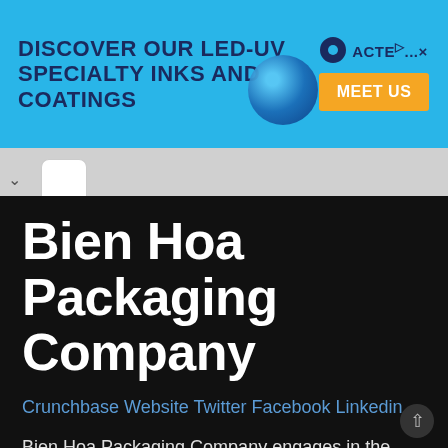[Figure (infographic): Advertisement banner for ACTECH LED-UV specialty inks and coatings with blue background, ACTECH logo, globe graphic, and orange MEET US button]
Bien Hoa Packaging Company
Crunchbase Website Twitter Facebook Linkedin
Bien Hoa Packaging Company engages in the manufacture and trade of paper containers and packaging products for the